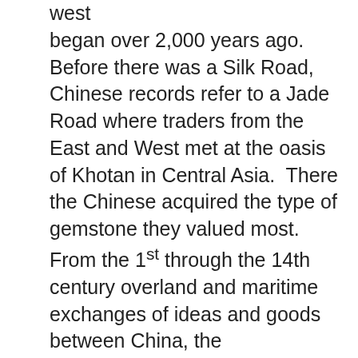west began over 2,000 years ago. Before there was a Silk Road, Chinese records refer to a Jade Road where traders from the East and West met at the oasis of Khotan in Central Asia.  There the Chinese acquired the type of gemstone they valued most. From the 1st through the 14th century overland and maritime exchanges of ideas and goods between China, the Mediterranean world, Japan, and Central and Southeast Asia were never controlled by a single political power. The overland road for much of its length was a fragile chain stretched across inhospitable desert and mountain terrain. Ships sailed unpredictable seas from one small city-state to another. Many were swept off course and sank, such as two recently discovered cargos of 9th- and 14th-century Chinese ceramics.
During the 18th century a flourishing shipping business, known as the “China Trade,” developed between Western nations and the Chinese port of